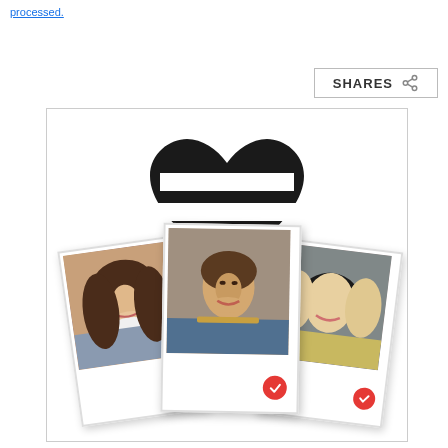processed.
[Figure (screenshot): SHARES button with share icon]
[Figure (illustration): Dating app interface card showing a stylized heart/hamburger menu logo at top, and three polaroid-style photos of smiling people (woman with dark hair, man with beard, blonde woman with black hat) each with a red heart badge at the bottom right.]